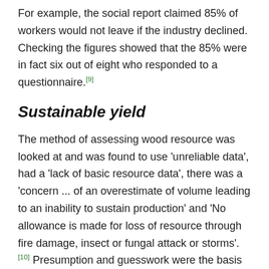For example, the social report claimed 85% of workers would not leave if the industry declined. Checking the figures showed that the 85% were in fact six out of eight who responded to a questionnaire.[9]
Sustainable yield
The method of assessing wood resource was looked at and was found to use 'unreliable data', had a 'lack of basic resource data', there was a 'concern ... of an overestimate of volume leading to an inability to sustain production' and 'No allowance is made for loss of resource through fire damage, insect or fungal attack or storms'.[10] Presumption and guesswork were the basis of calculating log volumes to supply the industry for the next 20 years. If new conservation discoveries are made, there can be no additional areas protected unless another reserved area is rezoned for logging. This is to ensure 'no net